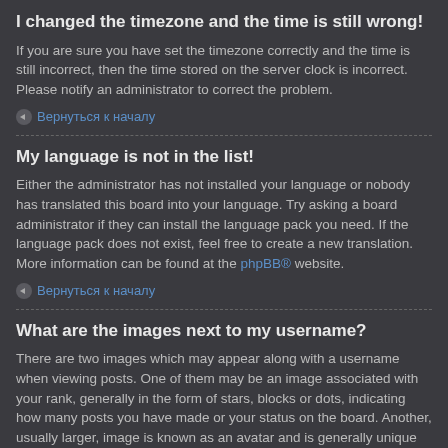I changed the timezone and the time is still wrong!
If you are sure you have set the timezone correctly and the time is still incorrect, then the time stored on the server clock is incorrect. Please notify an administrator to correct the problem.
Вернуться к началу
My language is not in the list!
Either the administrator has not installed your language or nobody has translated this board into your language. Try asking a board administrator if they can install the language pack you need. If the language pack does not exist, feel free to create a new translation. More information can be found at the phpBB® website.
Вернуться к началу
What are the images next to my username?
There are two images which may appear along with a username when viewing posts. One of them may be an image associated with your rank, generally in the form of stars, blocks or dots, indicating how many posts you have made or your status on the board. Another, usually larger, image is known as an avatar and is generally unique or personal to each user.